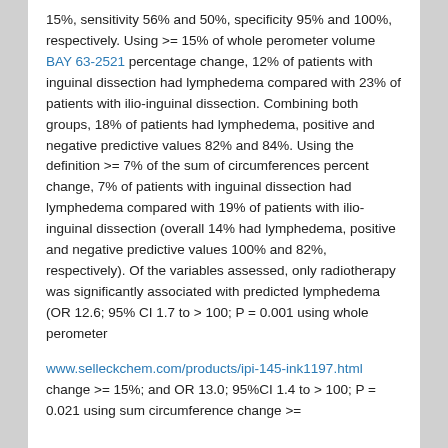15%, sensitivity 56% and 50%, specificity 95% and 100%, respectively. Using >= 15% of whole perometer volume BAY 63-2521 percentage change, 12% of patients with inguinal dissection had lymphedema compared with 23% of patients with ilio-inguinal dissection. Combining both groups, 18% of patients had lymphedema, positive and negative predictive values 82% and 84%. Using the definition >= 7% of the sum of circumferences percent change, 7% of patients with inguinal dissection had lymphedema compared with 19% of patients with ilio-inguinal dissection (overall 14% had lymphedema, positive and negative predictive values 100% and 82%, respectively). Of the variables assessed, only radiotherapy was significantly associated with predicted lymphedema (OR 12.6; 95% CI 1.7 to > 100; P = 0.001 using whole perometer
www.selleckchem.com/products/ipi-145-ink1197.html change >= 15%; and OR 13.0; 95%CI 1.4 to > 100; P = 0.021 using sum circumference change >=